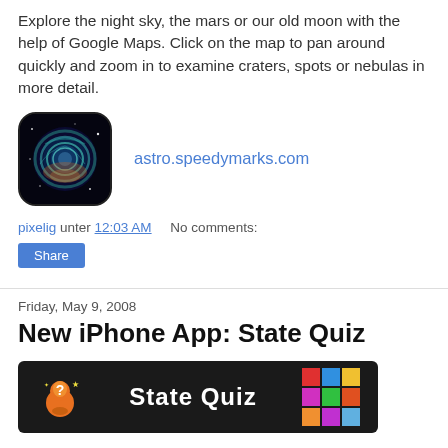Explore the night sky, the mars or our old moon with the help of Google Maps. Click on the map to pan around quickly and zoom in to examine craters, spots or nebulas in more detail.
[Figure (screenshot): App icon showing a nebula/galaxy image with rounded corners and black border, next to a blue hyperlink text 'astro.speedymarks.com']
pixelig unter 12:03 AM    No comments:
Share
Friday, May 9, 2008
New iPhone App: State Quiz
[Figure (screenshot): Dark banner showing 'State Quiz' app banner with an orange bird logo on the left and a colorful 3x3 grid of colored squares on the right]